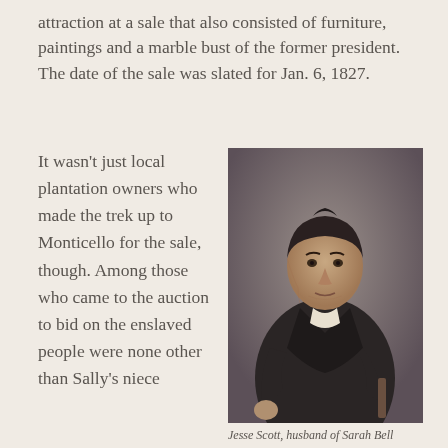attraction at a sale that also consisted of furniture, paintings and a marble bust of the former president. The date of the sale was slated for Jan. 6, 1827.
It wasn't just local plantation owners who made the trek up to Monticello for the sale, though. Among those who came to the auction to bid on the enslaved people were none other than Sally's niece
[Figure (photo): Oil portrait painting of Jesse Scott, husband of Sarah Bell, a man in dark coat with white cravat, standing with hand on hip]
Jesse Scott, husband of Sarah Bell